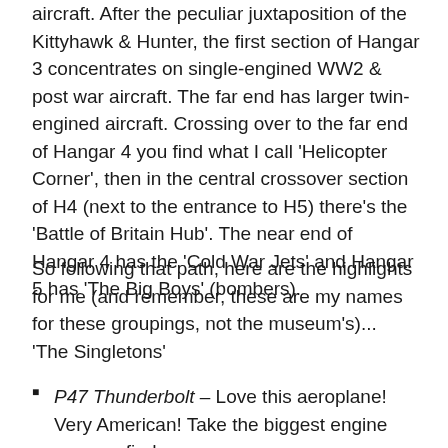aircraft. After the peculiar juxtaposition of the Kittyhawk & Hunter, the first section of Hangar 3 concentrates on single-engined WW2 & post war aircraft. The far end has larger twin-engined aircraft. Crossing over to the far end of Hangar 4 you find what I call 'Helicopter Corner', then in the central crossover section of H4 (next to the entrance to H5) there's the 'Battle of Britain Hub'. The near end of Hangar 4 has the 'Cold War Jets' and Hangar 5 has 'The Big Boys' (bombers).
So following that path, here are the highlights for me (and remember, these are my names for these groupings, not the museum's)...
'The Singletons'
P47 Thunderbolt – Love this aeroplane! Very American! Take the biggest engine you can find